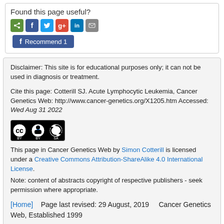Found this page useful?
[Figure (other): Social share icons: share (green), Facebook (blue), Twitter (light blue), Google+ (red), LinkedIn (blue), email (gray), and a Facebook Recommend button]
Disclaimer: This site is for educational purposes only; it can not be used in diagnosis or treatment.
Cite this page: Cotterill SJ. Acute Lymphocytic Leukemia, Cancer Genetics Web: http://www.cancer-genetics.org/X1205.htm Accessed: Wed Aug 31 2022
[Figure (logo): Creative Commons Attribution-ShareAlike license badge (CC BY-SA)]
This page in Cancer Genetics Web by Simon Cotterill is licensed under a Creative Commons Attribution-ShareAlike 4.0 International License. Note: content of abstracts copyright of respective publishers - seek permission where appropriate.
[Home]   Page last revised: 29 August, 2019     Cancer Genetics Web, Established 1999